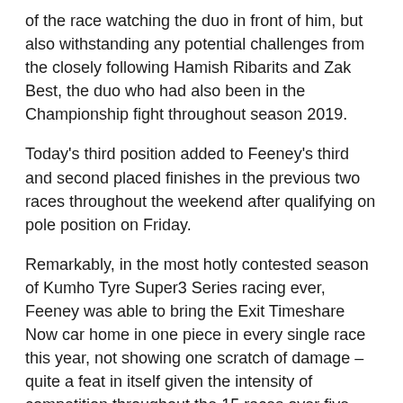of the race watching the duo in front of him, but also withstanding any potential challenges from the closely following Hamish Ribarits and Zak Best, the duo who had also been in the Championship fight throughout season 2019.
Today's third position added to Feeney's third and second placed finishes in the previous two races throughout the weekend after qualifying on pole position on Friday.
Remarkably, in the most hotly contested season of Kumho Tyre Super3 Series racing ever, Feeney was able to bring the Exit Timeshare Now car home in one piece in every single race this year, not showing one scratch of damage – quite a feat in itself given the intensity of competition throughout the 15 races over five rounds in 2019.
Thus brings to a completion the season in Kumho Tyre Super3 Series Racing for Feeney – his focus now turns towards season 2020, where several positive discussions related to potential